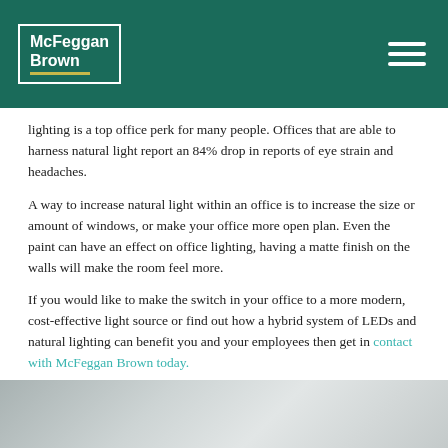McFeggan Brown
lighting is a top office perk for many people. Offices that are able to harness natural light report an 84% drop in reports of eye strain and headaches.
A way to increase natural light within an office is to increase the size or amount of windows, or make your office more open plan. Even the paint can have an effect on office lighting, having a matte finish on the walls will make the room feel more.
If you would like to make the switch in your office to a more modern, cost-effective light source or find out how a hybrid system of LEDs and natural lighting can benefit you and your employees then get in contact with McFeggan Brown today.
[Figure (photo): Blurred grey/white background photo at bottom of page]